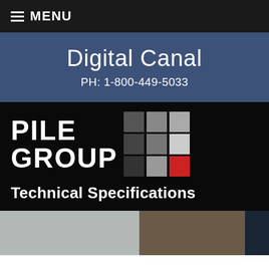≡ MENU
Digital Canal
PH: 1-800-449-5033
[Figure (logo): Pile Group logo with stacked bold white text PILE GROUP and a 3x3 grid of squares in dark gray, gray, light gray, and one red square at bottom right]
Technical Specifications
[Figure (photo): Bottom photo strip showing concrete/soil construction site images]